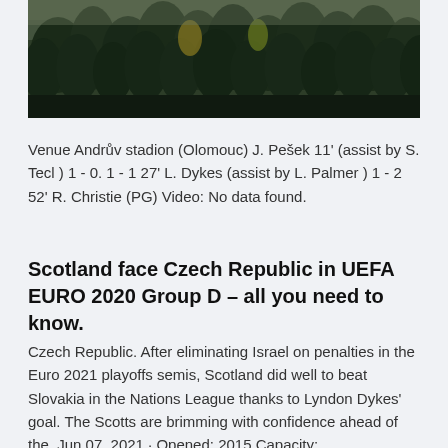[Figure (photo): Aerial view of dense dark green forest with trees, misty atmosphere]
Venue Andrův stadion (Olomouc) J. Pešek 11' (assist by S. Tecl ) 1 - 0. 1 - 1 27' L. Dykes (assist by L. Palmer ) 1 - 2 52' R. Christie (PG) Video: No data found.
Scotland face Czech Republic in UEFA EURO 2020 Group D – all you need to know.
Czech Republic. After eliminating Israel on penalties in the Euro 2021 playoffs semis, Scotland did well to beat Slovakia in the Nations League thanks to Lyndon Dykes' goal. The Scotts are brimming with confidence ahead of the. Jun 07, 2021 · Opened: 2015 Capacity: